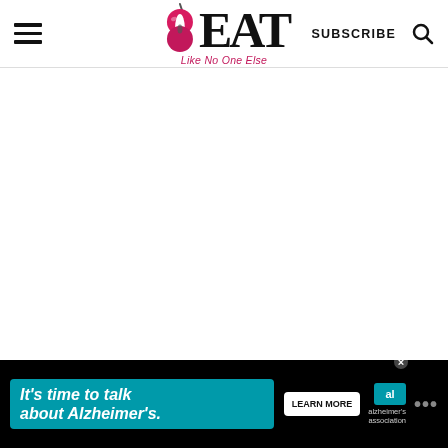EAT Like No One Else — SUBSCRIBE
[Figure (logo): EAT Like No One Else logo with pink apple core icon before the E, tagline reads 'Like No One Else' in pink italic script]
It's time to talk about Alzheimer's. LEARN MORE — Alzheimer's Association logo
[Figure (illustration): Alzheimer's Association advertisement banner: dark background, white italic text 'It's time to talk about Alzheimer's.' with a Learn More button and organization logo]